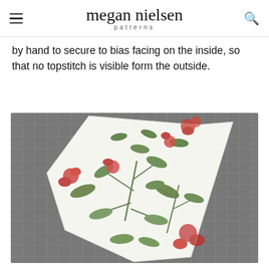megan nielsen patterns
by hand to secure to bias facing on the inside, so that no topstitch is visible form the outside.
[Figure (photo): A triangular piece of white fabric with a botanical floral print (red flowers, green leaves) lying on a grey cutting mat with a grid pattern.]